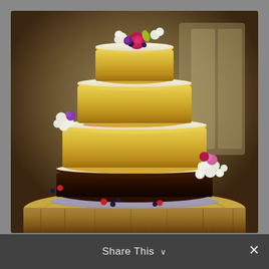[Figure (photo): A multi-tiered naked wedding cake decorated with fresh flowers and berries, displayed on a rustic wooden tree stump. The cake has four tiers: a dark chocolate bottom layer, two sponge cake layers with cream filling, and a small top sponge tier. The cake is adorned with colorful fresh flowers (pink, white, magenta) and mixed berries (blueberries, strawberries). Background shows a warm, woody/barn setting.]
Share This ∨